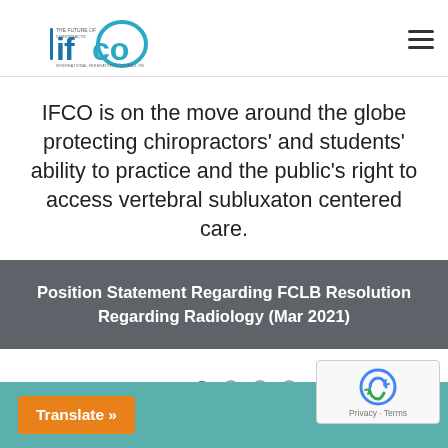IFCO logo and navigation header
IFCO is on the move around the globe protecting chiropractors’ and students’ ability to practice and the public’s right to access vertebral subluxaton centered care.
Position Statement Regarding FCLB Resolution Regarding Radiology (Mar 2021)
[Figure (other): Carousel navigation with left arrow, one filled dot and three empty dots, and right arrow]
Translate »
[Figure (other): reCAPTCHA badge with logo and Privacy - Terms text]